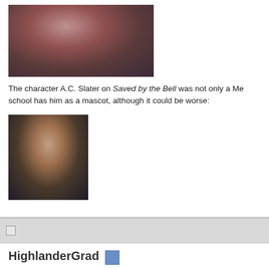[Figure (photo): Photo of a person (A.C. Slater character) from Saved by the Bell, upper portion of image cropped]
The character A.C. Slater on Saved by the Bell was not only a Me... school has him as a mascot, although it could be worse:
[Figure (photo): Photo of another character from Saved by the Bell, Screech]
HighlanderGrad
Unsaved trash
Under Investigation
Re: High School Mascots · 05-10-2010, 05:28 AM